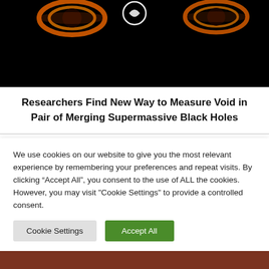[Figure (photo): Black background with glowing orange/red black hole merger visualization and a white circular icon at top center]
Researchers Find New Way to Measure Void in Pair of Merging Supermassive Black Holes
Related Articles
[Figure (photo): Two related article thumbnail images side by side — left is dark blue, right is dark brown]
We use cookies on our website to give you the most relevant experience by remembering your preferences and repeat visits. By clicking “Accept All”, you consent to the use of ALL the cookies. However, you may visit "Cookie Settings" to provide a controlled consent.